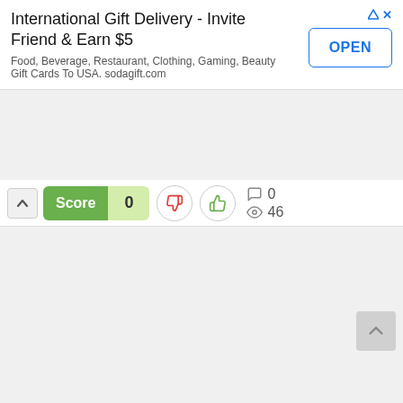[Figure (screenshot): Advertisement banner for International Gift Delivery app. Title: 'International Gift Delivery - Invite Friend & Earn $5'. Subtitle: 'Food, Beverage, Restaurant, Clothing, Gaming, Beauty Gift Cards To USA. sodagift.com'. Has an OPEN button on the right side.]
Score 0
0 comments, 46 views